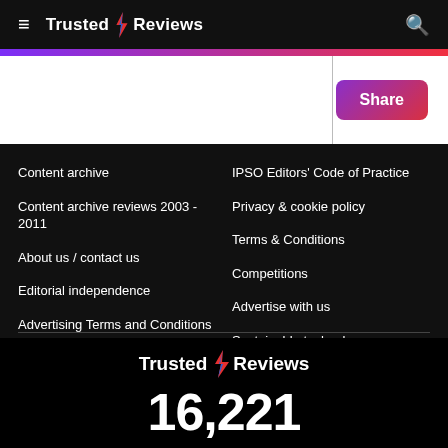Trusted Reviews
[Figure (screenshot): Share button with gradient background (purple to red)]
Content archive
Content archive reviews 2003 - 2011
About us / contact us
Editorial independence
Advertising Terms and Conditions
IPSO Editors' Code of Practice
Privacy & cookie policy
Terms & Conditions
Competitions
Advertise with us
Sustainable technology innovations
16,221
Products tested and reviewed since 2003